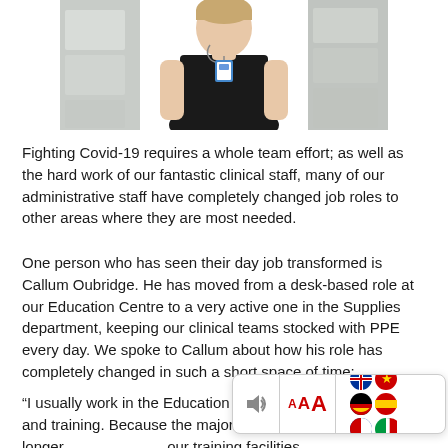[Figure (photo): Photo of a person (Callum Oubridge) wearing a black top and ID badge, standing in front of boxes/supplies in a warehouse-like setting.]
Fighting Covid-19 requires a whole team effort; as well as the hard work of our fantastic clinical staff, many of our administrative staff have completely changed job roles to other areas where they are most needed.
One person who has seen their day job transformed is Callum Oubridge. He has moved from a desk-based role at our Education Centre to a very active one in the Supplies department, keeping our clinical teams stocked with PPE every day. We spoke to Callum about how his role has completely changed in such a short space of time:
“I usually work in the Education Centre, supporting meetings and training. Because the majori[ty of events were] cancelled, it meant we no longer [needed to use] our training facilities.